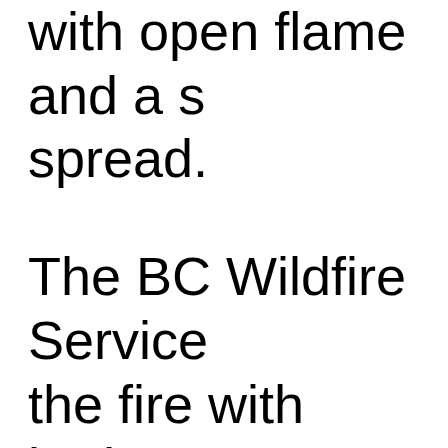with open flame and a spread. The BC Wildfire Service the fire with both ground resources, including helicopters air tankers. The public is asked to stay the area to avoid interfering firefighting operations.